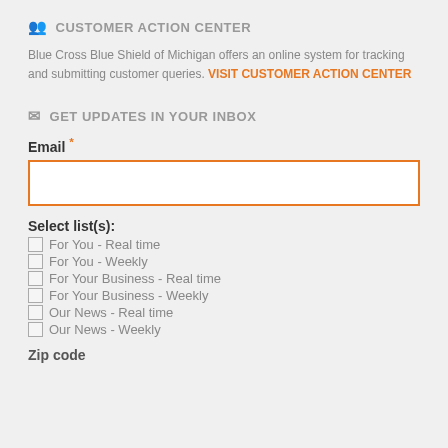CUSTOMER ACTION CENTER
Blue Cross Blue Shield of Michigan offers an online system for tracking and submitting customer queries. VISIT CUSTOMER ACTION CENTER
GET UPDATES IN YOUR INBOX
Email *
Select list(s):
For You - Real time
For You - Weekly
For Your Business - Real time
For Your Business - Weekly
Our News - Real time
Our News - Weekly
Zip code